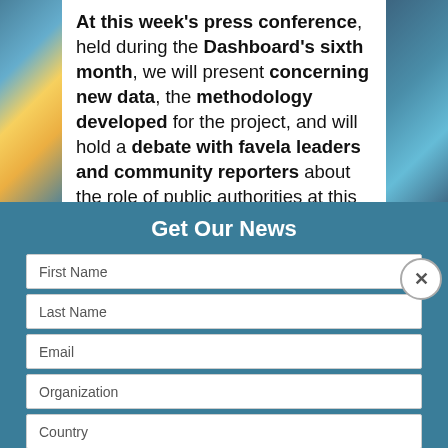At this week's press conference, held during the Dashboard's sixth month, we will present concerning new data, the methodology developed for the project, and will hold a debate with favela leaders and community reporters about the role of public authorities at this moment of the pandemic's re-peak. In addition, we will release access to detailed data
Get Our News
First Name
Last Name
Email
Organization
Country
Subscribe